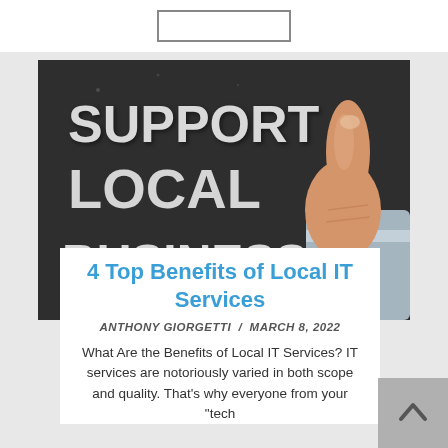[Figure (photo): Chalkboard with text 'SUPPORT LOCAL BUSINESS' written in chalk, with a thumbs-up hand gesture on the right side]
4 Top Benefits of Local IT Services
ANTHONY GIORGETTI  /  MARCH 8, 2022
What Are the Benefits of Local IT Services? IT services are notoriously varied in both scope and quality. That's why everyone from your "tech